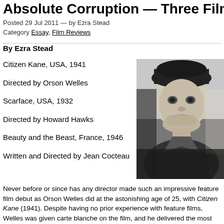Absolute Corruption — Three Films A
Posted 29 Jul 2011 — by Ezra Stead
Category Essay, Film Reviews
By Ezra Stead
Citizen Kane, USA, 1941
Directed by Orson Welles
Scarface, USA, 1932
Directed by Howard Hawks
Beauty and the Beast, France, 1946
Written and Directed by Jean Cocteau
[Figure (photo): Black and white photograph of a man (Orson Welles) looking intensely to the side, wearing a hat]
Never before or since has any director made such an impressive feature film debut as Orson Welles did at the astonishing age of 25, with Citizen Kane (1941). Despite having no prior experience with feature films, Welles was given carte blanche on the film, and he delivered the most original film of its time. Even today it is considered one of the greatest films ever made, the standard by which all other films are judged. According to the great critic Andrew Sarris, as stated in his book Interviews with Film Directors, "Citizen Kane is still the work which influenced more directors than any American film since Birth of a Nation." Read More